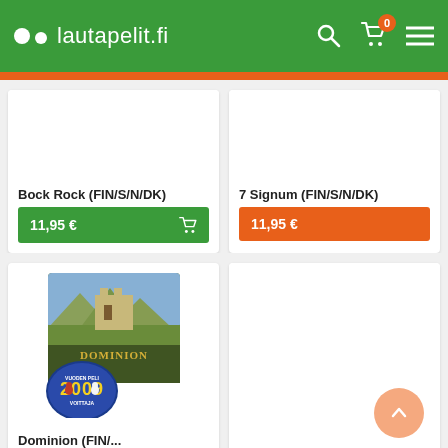lautapelit.fi
Bock Rock (FIN/S/N/DK)
11,95 €
7 Signum (FIN/S/N/DK)
11,95 €
[Figure (photo): Dominion board game box with 2009 Vuoden Peli Voittaja award badge]
Dominion (FIN/...